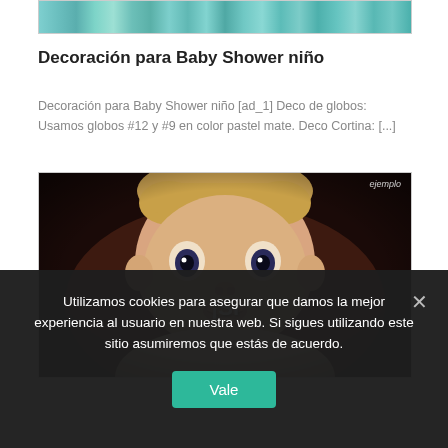[Figure (photo): Decorative curtain or ribbon strips in teal/green pastel colors, partial view at top of page]
Decoración para Baby Shower niño
Decoración para Baby Shower niño [ad_1] Deco de globos: Usamos globos #12 y #9 en color pastel mate. Deco Cortina: [...]
[Figure (photo): Close-up photo of a baby with wide open eyes and surprised expression, with text overlay '¡Sí' in white bold font, and 'ejemplo' watermark in top right]
Utilizamos cookies para asegurar que damos la mejor experiencia al usuario en nuestra web. Si sigues utilizando este sitio asumiremos que estás de acuerdo.